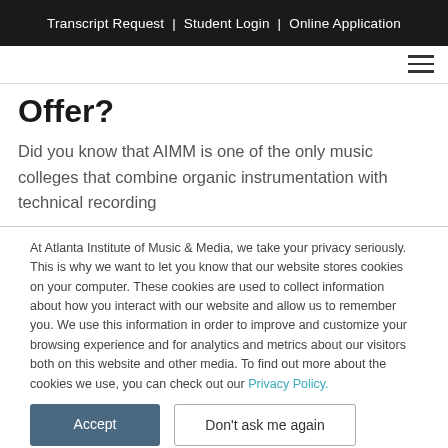Transcript Request  |  Student Login  |  Online Application
Offer?
Did you know that AIMM is one of the only music colleges that combine organic instrumentation with technical recording
At Atlanta Institute of Music & Media, we take your privacy seriously. This is why we want to let you know that our website stores cookies on your computer. These cookies are used to collect information about how you interact with our website and allow us to remember you. We use this information in order to improve and customize your browsing experience and for analytics and metrics about our visitors both on this website and other media. To find out more about the cookies we use, you can check out our Privacy Policy.
Accept | Don't ask me again